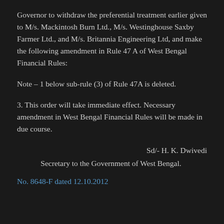Governor to withdraw the preferential treatment earlier given to M/s. Mackintosh Burn Ltd., M/s. Westinghouse Saxby Farmer Ltd., and M/s. Britannia Engineering Ltd, and make the following amendment in Rule 47 A of West Bengal Financial Rules:
Note – 1 below sub-rule (3) of Rule 47A is deleted.
3. This order will take immediate effect. Necessary amendment in West Bengal Financial Rules will be made in due course.
Sd/- H. K. Dwivedi
Secretary to the Government of West Bengal.
No. 8648-F dated 12.10.2012